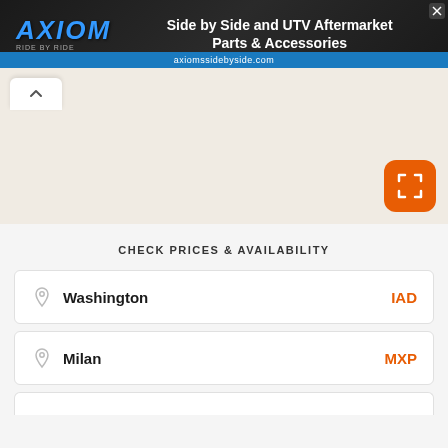[Figure (screenshot): Axiom Side by Side and UTV Aftermarket Parts & Accessories advertisement banner with logo and URL axiomssidebyside.com]
[Figure (map): Map area showing a light beige/tan background with a collapse arrow tab button and an orange expand/fullscreen button]
CHECK PRICES & AVAILABILITY
Washington  IAD
Milan  MXP